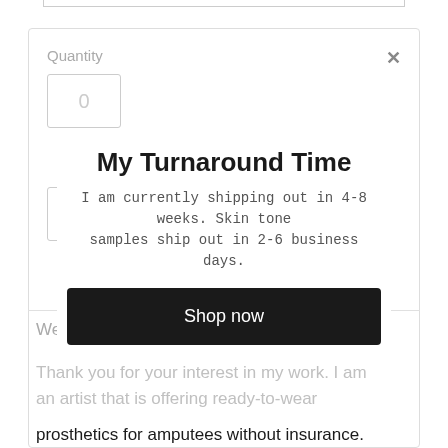Quantity
My Turnaround Time
I am currently shipping out in 4-8 weeks. Skin tone samples ship out in 2-6 business days.
Shop now
Welcome!
Thank you for your interest in my work. I am an artist that is offering ready-to-wear
prosthetics for amputees without insurance.